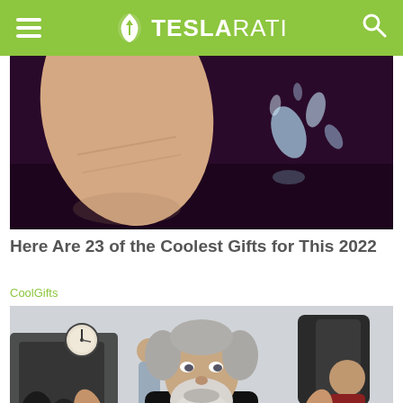TESLARATI
[Figure (photo): Close-up of a finger touching a small liquid metal or water droplet on a dark purple/reflective surface]
Here Are 23 of the Coolest Gifts for This 2022
CoolGifts
[Figure (photo): An older man with a white beard flexing in a gym, wearing a black Nike sleeveless shirt, with gym equipment and other people visible in the background]